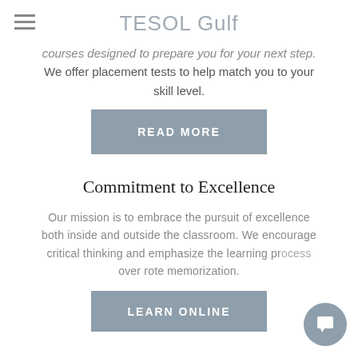TESOL Gulf
courses designed to prepare you for your next step. We offer placement tests to help match you to your skill level.
READ MORE
Commitment to Excellence
Our mission is to embrace the pursuit of excellence both inside and outside the classroom. We encourage critical thinking and emphasize the learning process over rote memorization.
LEARN ONLINE